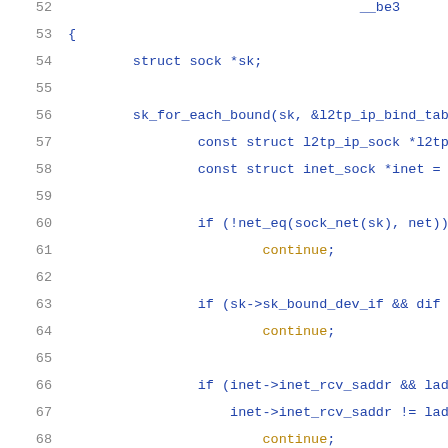[Figure (screenshot): Source code listing in C showing lines 52-72 of a Linux kernel network socket lookup function, with syntax highlighting (blue for code, gold for keywords like 'continue'). Lines show struct declarations, sk_for_each_bound loop, and conditional checks for network namespace, bound device interface, receive address, and destination address.]